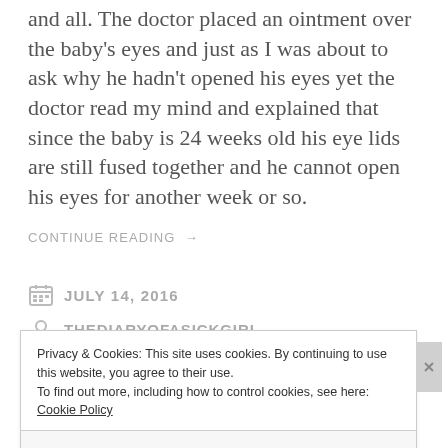and all. The doctor placed an ointment over the baby's eyes and just as I was about to ask why he hadn't opened his eyes yet the doctor read my mind and explained that since the baby is 24 weeks old his eye lids are still fused together and he cannot open his eyes for another week or so.
CONTINUE READING →
JULY 14, 2016
THEDIARYOFASICKGIRL
Privacy & Cookies: This site uses cookies. By continuing to use this website, you agree to their use. To find out more, including how to control cookies, see here: Cookie Policy
Close and accept